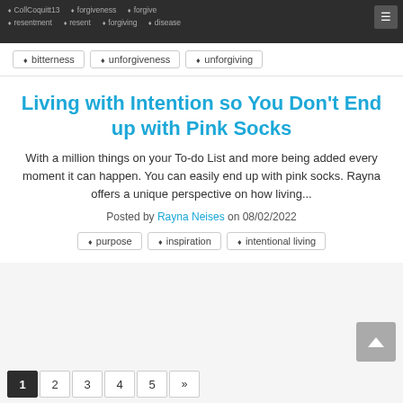CollCoquitt13 · forgiveness · forgive · resentment · resent · forgiving · disease · bitterness · unforgiveness · unforgiving
bitterness
unforgiveness
unforgiving
Living with Intention so You Don't End up with Pink Socks
With a million things on your To-do List and more being added every moment it can happen. You can easily end up with pink socks. Rayna offers a unique perspective on how living...
Posted by Rayna Neises on 08/02/2022
purpose
inspiration
intentional living
1 2 3 4 5 »